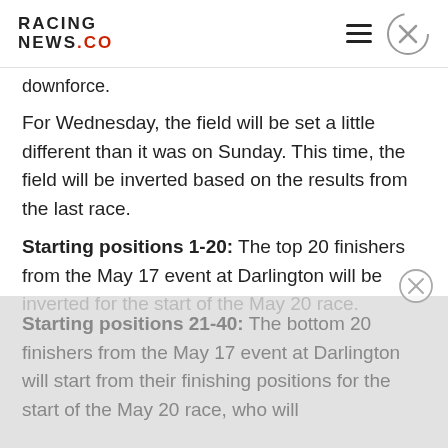RACING NEWS.CO
downforce.
For Wednesday, the field will be set a little different than it was on Sunday. This time, the field will be inverted based on the results from the last race.
Starting positions 1-20: The top 20 finishers from the May 17 event at Darlington will be inverted for the start of the May 20 race.
Starting positions 21-40: The bottom 20 finishers from the May 17 event at Darlington will start from their finishing positions for the start of the May 20 race, who will